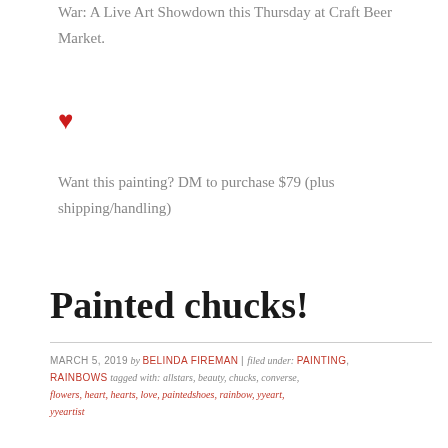War: A Live Art Showdown this Thursday at Craft Beer Market.
♥
Want this painting? DM to purchase $79 (plus shipping/handling)
Painted chucks!
MARCH 5, 2019 by BELINDA FIREMAN | filed under: PAINTING, RAINBOWS tagged with: allstars, beauty, chucks, converse, flowers, heart, hearts, love, paintedshoes, rainbow, yyeart, yyeartist